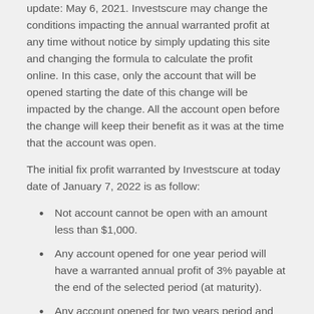update: May 6, 2021. Investscure may change the conditions impacting the annual warranted profit at any time without notice by simply updating this site and changing the formula to calculate the profit online. In this case, only the account that will be opened starting the date of this change will be impacted by the change. All the account open before the change will keep their benefit as it was at the time that the account was open.
The initial fix profit warranted by Investscure at today date of January 7, 2022 is as follow:
Not account cannot be open with an amount less than $1,000.
Any account opened for one year period will have a warranted annual profit of 3% payable at the end of the selected period (at maturity).
Any account opened for two years period and more will have a warranted annual profit of 5%. The interests will be available for withdrawal at the end of each year. The funder can decide to withdraw the profit or ask Investscure by simple Email to the investscure customer service at customerservices@investscure.com to re-invest the profit. This Email to the accounting is important to avoid the misunderstanding at the end for the calculation of